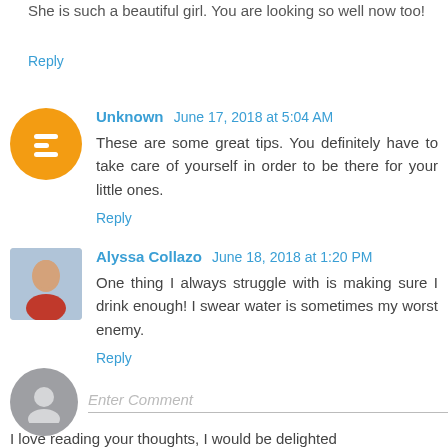She is such a beautiful girl. You are looking so well now too!
Reply
Unknown June 17, 2018 at 5:04 AM
These are some great tips. You definitely have to take care of yourself in order to be there for your little ones.
Reply
Alyssa Collazo June 18, 2018 at 1:20 PM
One thing I always struggle with is making sure I drink enough! I swear water is sometimes my worst enemy.
Reply
Enter Comment
I love reading your thoughts, I would be delighted